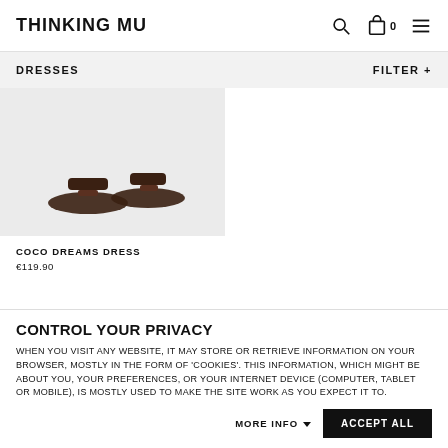THINKING MU
DRESSES
FILTER +
[Figure (photo): Two dark brown leather slide sandals on a light beige background]
COCO DREAMS DRESS
€119.90
SIGN UP TO NEWSLETTER
YOUR EMAIL ADDRESS
SEND
CONTROL YOUR PRIVACY
WHEN YOU VISIT ANY WEBSITE, IT MAY STORE OR RETRIEVE INFORMATION ON YOUR BROWSER, MOSTLY IN THE FORM OF 'COOKIES'. THIS INFORMATION, WHICH MIGHT BE ABOUT YOU, YOUR PREFERENCES, OR YOUR INTERNET DEVICE (COMPUTER, TABLET OR MOBILE), IS MOSTLY USED TO MAKE THE SITE WORK AS YOU EXPECT IT TO.
MORE INFO
ACCEPT ALL